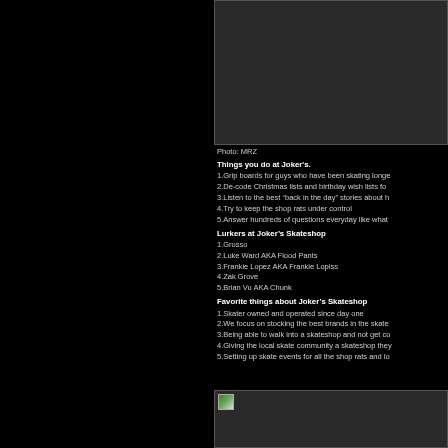[Figure (photo): Photo at top of page, partially visible]
Photo: MRZ
Things you do at Joker's.
1.Grip boards for guys who have been skating longe
2.De-code Christmas lists and birthday wish lists fo
3.Listen to the best “back in the day” stories about h
4.Try to keep the shop rats under control
5.Answer hundreds of questions everyday like what
Lurkers at Joker’s Skateshop
1.Grosso
2.Luke Ward AKA Flood Pants
3.Frankie Lopez AKA Frankie Lopiss
4.Zak Grove
5.Brian Vu AKA Chunk
Favorite things about Joker’s Skateshop
1.Skater owned and operated since day one
2.We focus on stocking the best brands in the skate
3.Being able to walk into a skateshop and not get co
4.Giving the local skate community a skateshop they
5.Setting up skate events for all the shop rats and lo
[Figure (photo): Photo at bottom of page, partially visible]